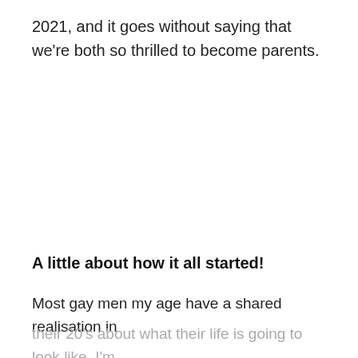2021, and it goes without saying that we're both so thrilled to become parents.
A little about how it all started!
Most gay men my age have a shared realisation in their 20's about what their life is going to look like. I'm the oldest of 6 kids so needless to say that I always...